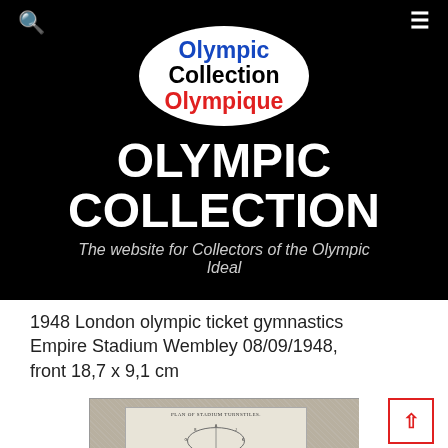[Figure (logo): Olympic Collection Olympique logo — oval white badge with blue 'Olympic', black 'Collection', red 'Olympique' text]
OLYMPIC COLLECTION
The website for Collectors of the Olympic Ideal
1948 London olympic ticket gymnastics Empire Stadium Wembley 08/09/1948, front 18,7 x 9,1 cm
[Figure (photo): 1948 London Olympic gymnastics ticket front showing a plan of stadium turnstiles with an oval stadium diagram]